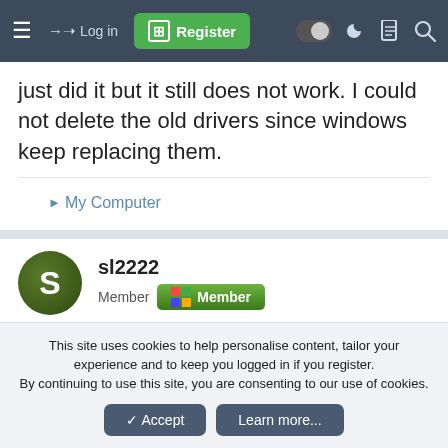Log in | Register
just did it but it still does not work. I could not delete the old drivers since windows keep replacing them.
▶ My Computer
sl2222
Member
Mar 5, 2013  #133
phew...i won't give up if u don't. 🙂
This site uses cookies to help personalise content, tailor your experience and to keep you logged in if you register.
By continuing to use this site, you are consenting to our use of cookies.